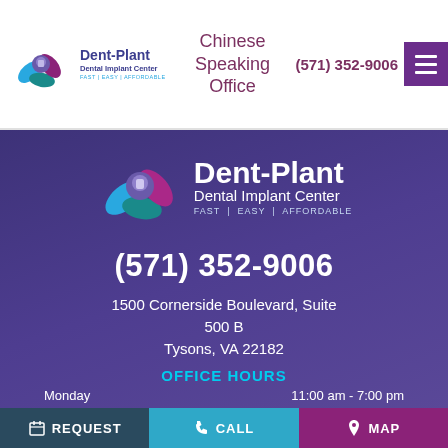[Figure (logo): Dent-Plant Dental Implant Center logo with stylized leaves and tooth icon in purple and blue, with text 'Dent-Plant Dental Implant Center FAST | EASY | AFFORDABLE']
Chinese Speaking Office
(571) 352-9006
[Figure (logo): Dent-Plant Dental Implant Center large logo on purple background]
(571) 352-9006
1500 Cornerside Boulevard, Suite 500 B
Tysons, VA 22182
OFFICE HOURS
Monday    11:00 am - 7:00 pm